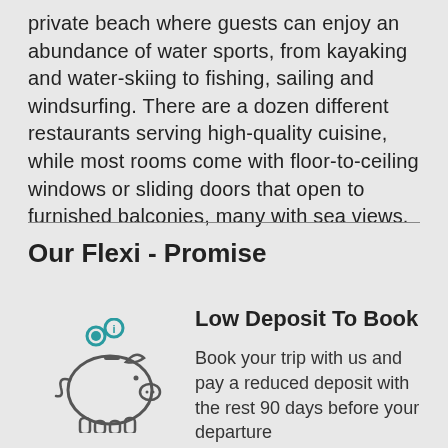private beach where guests can enjoy an abundance of water sports, from kayaking and water-skiing to fishing, sailing and windsurfing. There are a dozen different restaurants serving high-quality cuisine, while most rooms come with floor-to-ceiling windows or sliding doors that open to furnished balconies, many with sea views.
Our Flexi - Promise
[Figure (illustration): Piggy bank icon in outline style with two teal coins above it]
Low Deposit To Book
Book your trip with us and pay a reduced deposit with the rest 90 days before your departure